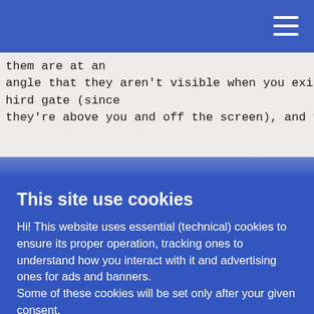them are at an
angle that they aren't visible when you exit the third gate (since
they're above you and off the screen), and you wil
This site use cookies
Hi! This website uses essential (technical) cookies to ensure its proper operation, tracking ones to understand how you interact with it and advertising ones for ads and banners.
Some of these cookies will be set only after your given consent.
Please read the privacy policy and the cookie policy. You can of course accept only strictly necessary.
Settings: let me choose
Accept all